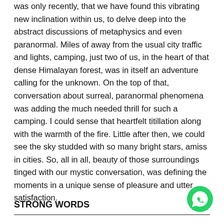was only recently, that we have found this vibrating new inclination within us, to delve deep into the abstract discussions of metaphysics and even paranormal. Miles of away from the usual city traffic and lights, camping, just two of us, in the heart of that dense Himalayan forest, was in itself an adventure calling for the unknown. On the top of that, conversation about surreal, paranormal phenomena was adding the much needed thrill for such a camping. I could sense that heartfelt titillation along with the warmth of the fire. Little after then, we could see the sky studded with so many bright stars, amiss in cities. So, all in all, beauty of those surroundings tinged with our mystic conversation, was defining the moments in a unique sense of pleasure and utter satisfaction.
STRONG WORDS
[Figure (logo): WhatsApp logo — green circle with white phone handset icon]